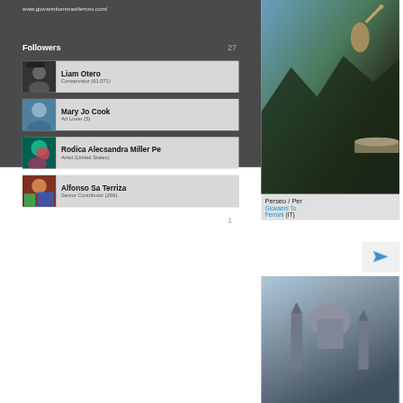www.giovannitommasiferroni.com/
Followers 27
Liam Otero
Conservator (61,071)
Mary Jo Cook
Art Lover (5)
Rodica Alecsandra Miller Pe
Artist (United States)
Alfonso Sa Terriza
Senior Contributor (266)
Following 1
[Figure (photo): Painting of Perseus (Perseo) — mythological figure with arm raised, dramatic sky and mountains background]
Perseo / Per
Giovanni To
Ferroni (IT)
[Figure (photo): Painting of a cathedral or church with dome and towers, blue-grey tones]